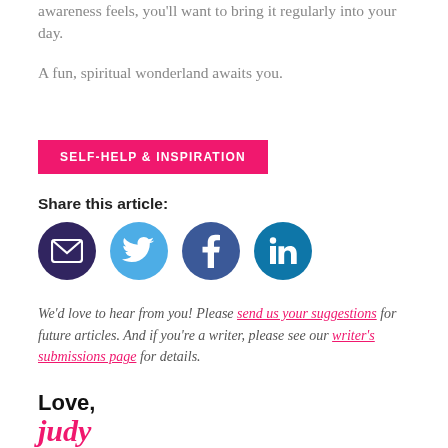awareness feels, you'll want to bring it regularly into your day.
A fun, spiritual wonderland awaits you.
SELF-HELP & INSPIRATION
Share this article:
[Figure (infographic): Social sharing icons: email (dark purple circle), Twitter (light blue circle), Facebook (dark blue circle), LinkedIn (teal circle)]
We'd love to hear from you! Please send us your suggestions for future articles. And if you're a writer, please see our writer's submissions page for details.
Love,
judy